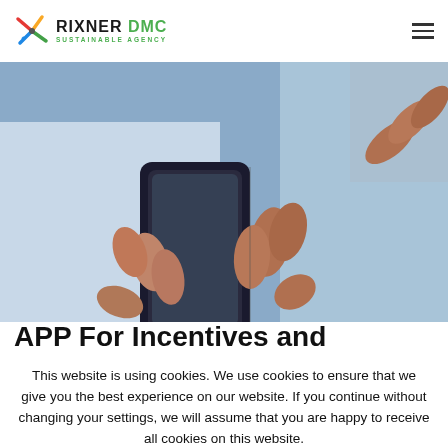RIXNER DMC SUSTAINABLE AGENCY
[Figure (photo): Two people holding smartphones, close-up of hands, business setting with light blue background]
APP For Incentives and
This website is using cookies. We use cookies to ensure that we give you the best experience on our website. If you continue without changing your settings, we will assume that you are happy to receive all cookies on this website.